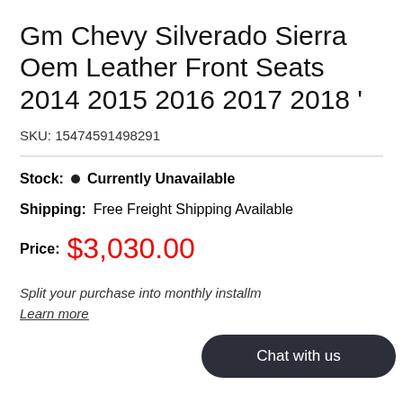Gm Chevy Silverado Sierra Oem Leather Front Seats 2014 2015 2016 2017 2018 '
SKU: 15474591498291
Stock: ● Currently Unavailable
Shipping: Free Freight Shipping Available
Price: $3,030.00
Split your purchase into monthly installm
Learn more